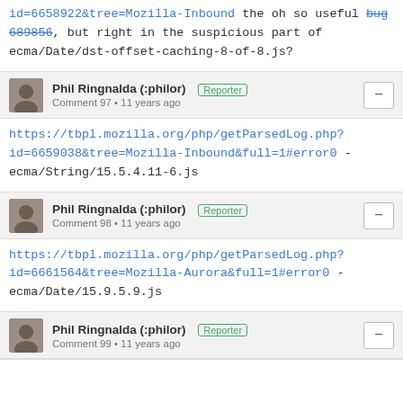id=6658922&tree=Mozilla-Inbound the oh so useful bug 689856, but right in the suspicious part of ecma/Date/dst-offset-caching-8-of-8.js?
Phil Ringnalda (:philor) [Reporter] Comment 97 • 11 years ago
https://tbpl.mozilla.org/php/getParsedLog.php?id=6659038&tree=Mozilla-Inbound&full=1#error0 - ecma/String/15.5.4.11-6.js
Phil Ringnalda (:philor) [Reporter] Comment 98 • 11 years ago
https://tbpl.mozilla.org/php/getParsedLog.php?id=6661564&tree=Mozilla-Aurora&full=1#error0 - ecma/Date/15.9.5.9.js
Phil Ringnalda (:philor) [Reporter] Comment 99 • 11 years ago